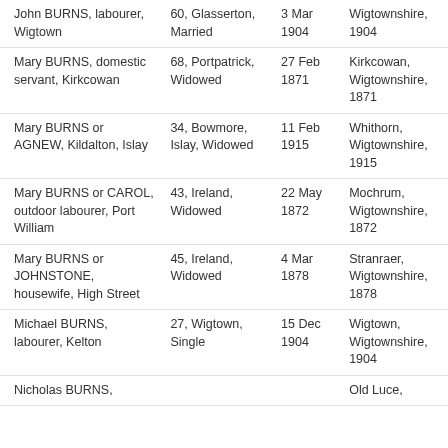| John BURNS, labourer, Wigtown | 60, Glasserton, Married | 3 Mar 1904 | Wigtownshire, 1904 |
| Mary BURNS, domestic servant, Kirkcowan | 68, Portpatrick, Widowed | 27 Feb 1871 | Kirkcowan, Wigtownshire, 1871 |
| Mary BURNS or AGNEW, Kildalton, Islay | 34, Bowmore, Islay, Widowed | 11 Feb 1915 | Whithorn, Wigtownshire, 1915 |
| Mary BURNS or CAROL, outdoor labourer, Port William | 43, Ireland, Widowed | 22 May 1872 | Mochrum, Wigtownshire, 1872 |
| Mary BURNS or JOHNSTONE, housewife, High Street | 45, Ireland, Widowed | 4 Mar 1878 | Stranraer, Wigtownshire, 1878 |
| Michael BURNS, labourer, Kelton | 27, Wigtown, Single | 15 Dec 1904 | Wigtown, Wigtownshire, 1904 |
| Nicholas BURNS, |  |  | Old Luce, |